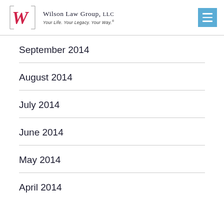Wilson Law Group, LLC — Your Life. Your Legacy. Your Way.
September 2014
August 2014
July 2014
June 2014
May 2014
April 2014